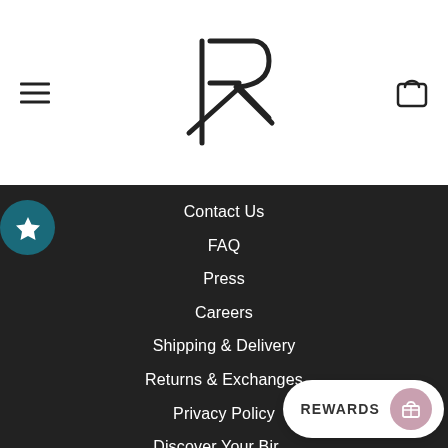[Figure (logo): Stylized R logo made of vertical bar and R letterform in black on white background]
Contact Us
FAQ
Press
Careers
Shipping & Delivery
Returns & Exchanges
Privacy Policy
Discover Your Bir…
Ring Sizing Chart